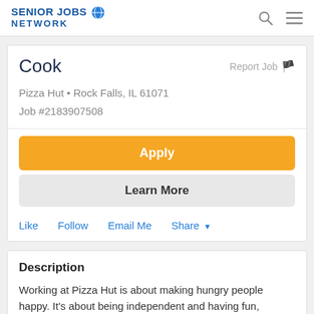SENIOR JOBS NETWORK
Cook
Report Job
Pizza Hut • Rock Falls, IL 61071
Job #2183907508
Apply
Learn More
Like  Follow  Email Me  Share
Description
Working at Pizza Hut is about making hungry people happy. It's about being independent and having fun, making new friends and earning extra cash. As a Pizza Hut team member, you can be the smiling face that greets and serves the customers or a cook who make things happen in the kitchen. Working with us will give you the financial and flexibility to sit...